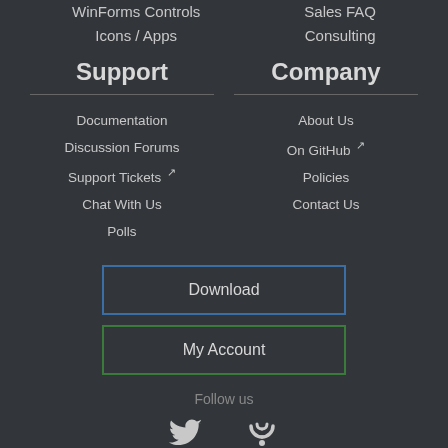WinForms Controls
Icons / Apps
Sales FAQ
Consulting
Support
Company
Documentation
Discussion Forums
Support Tickets
Chat With Us
Polls
About Us
On GitHub
Policies
Contact Us
Download
My Account
Follow us
Twitter
Blog